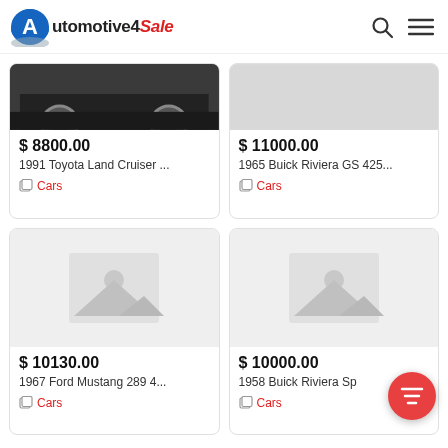Automotive4Sale
[Figure (screenshot): Car listing card: 1991 Toyota Land Cruiser, $8800.00, Cars category]
[Figure (screenshot): Car listing card: 1965 Buick Riviera GS 425..., $11000.00, Cars category]
[Figure (screenshot): Car listing card: 1967 Ford Mustang 289 4..., $10130.00, Cars category, placeholder image]
[Figure (screenshot): Car listing card: 1958 Buick Riviera Sp..., $10000.00, Cars category, placeholder image]